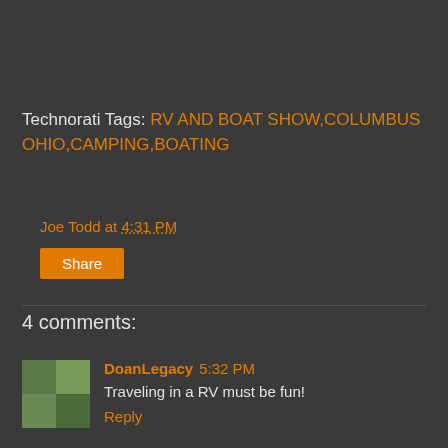Technorati Tags: RV AND BOAT SHOW,COLUMBUS OHIO,CAMPING,BOATING
Joe Todd at 4:31 PM
Share
4 comments:
[Figure (photo): Small square avatar image showing a nature/outdoor scene in a 2x2 grid collage]
DoanLegacy 5:32 PM
Traveling in a RV must be fun!
Reply